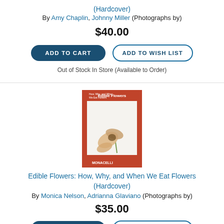(Hardcover)
By Amy Chaplin, Johnny Miller (Photographs by)
$40.00
ADD TO CART
ADD TO WISH LIST
Out of Stock In Store (Available to Order)
[Figure (photo): Book cover of 'Edible Flowers: How, Why, and When We Eat Flowers' with orange/red background and a photograph of a pale flower, published by Monacelli.]
Edible Flowers: How, Why, and When We Eat Flowers (Hardcover)
By Monica Nelson, Adrianna Glaviano (Photographs by)
$35.00
ADD TO CART
ADD TO WISH LIST
Out of Stock In Store (Available to Order)